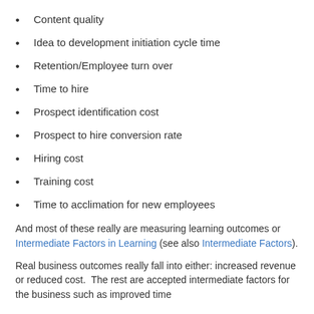Content quality
Idea to development initiation cycle time
Retention/Employee turn over
Time to hire
Prospect identification cost
Prospect to hire conversion rate
Hiring cost
Training cost
Time to acclimation for new employees
And most of these really are measuring learning outcomes or Intermediate Factors in Learning (see also Intermediate Factors).
Real business outcomes really fall into either: increased revenue or reduced cost.  The rest are accepted intermediate factors for the business such as improved time